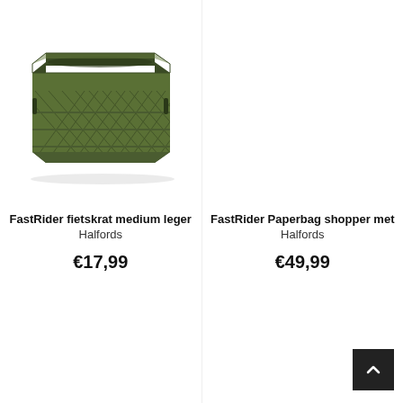[Figure (photo): Green plastic perforated stackable crate (fietskrat) shown in a 3/4 perspective view]
FastRider fietskrat medium leger
Halfords
€17,99
FastRider Paperbag shopper met
Halfords
€49,99